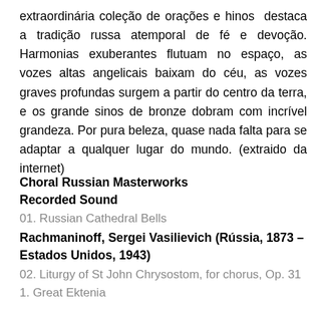extraordinária coleção de orações e hinos destaca a tradição russa atemporal de fé e devoção. Harmonias exuberantes flutuam no espaço, as vozes altas angelicais baixam do céu, as vozes graves profundas surgem a partir do centro da terra, e os grande sinos de bronze dobram com incrível grandeza. Por pura beleza, quase nada falta para se adaptar a qualquer lugar do mundo. (extraido da internet)
Choral Russian Masterworks
Recorded Sound
01. Russian Cathedral Bells
Rachmaninoff, Sergei Vasilievich (Rússia, 1873 – Estados Unidos, 1943)
02. Liturgy of St John Chrysostom, for chorus, Op. 31 1. Great Ektenia